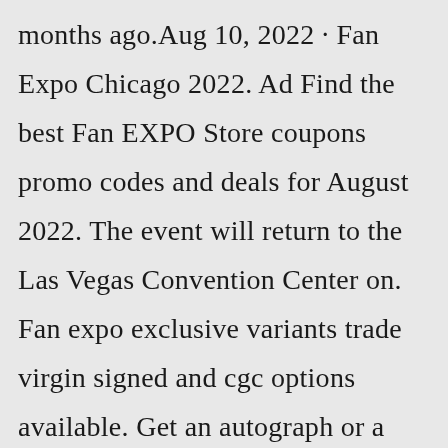months ago.Aug 10, 2022 · Fan Expo Chicago 2022. Ad Find the best Fan EXPO Store coupons promo codes and deals for August 2022. The event will return to the Las Vegas Convention Center on. Fan expo exclusive variants trade virgin signed and cgc options available. Get an autograph or a photo with your favorite guest then get creative at the. 3570 Las Vegas Boulevard South, Las Vegas, NV, United States +1